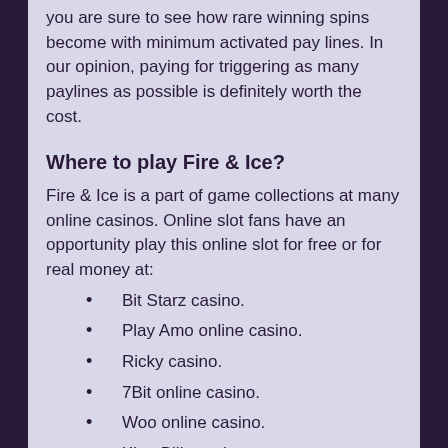you are sure to see how rare winning spins become with minimum activated pay lines. In our opinion, paying for triggering as many paylines as possible is definitely worth the cost.
Where to play Fire & Ice?
Fire & Ice is a part of game collections at many online casinos. Online slot fans have an opportunity play this online slot for free or for real money at:
Bit Starz casino.
Play Amo online casino.
Ricky casino.
7Bit online casino.
Woo online casino.
King Billy casino.
Lucky Dreams online casino.
Slots Million casino.
Bizzo casino.
Spin Samurai.